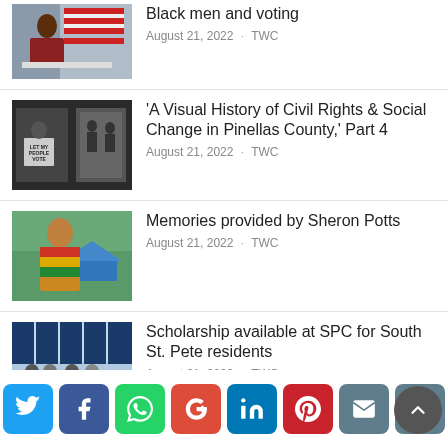[Figure (photo): Person signing a document with an American flag in the background]
Black men and voting
August 21, 2022 · TWC
[Figure (photo): Black and white civil rights photos, one showing a protest sign saying 'Let My People Vote']
'A Visual History of Civil Rights & Social Change in Pinellas County,' Part 4
August 21, 2022 · TWC
[Figure (photo): Woman with curly hair wearing a colorful shirt standing outdoors]
Memories provided by Sheron Potts
August 21, 2022 · TWC
[Figure (photo): Group of people holding a large check at SPC with sponsor banners in the background]
Scholarship available at SPC for South St. Pete residents
August 21, 2022 · TWC